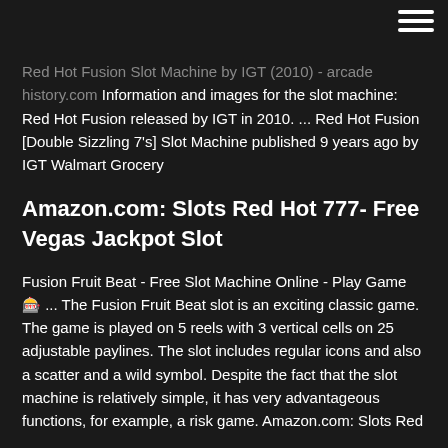Red Hot Fusion Slot Machine by IGT (2010) - arcade history.com Information and images for the slot machine: Red Hot Fusion released by IGT in 2010. ... Red Hot Fusion [Double Sizzling 7's] Slot Machine published 9 years ago by IGT Walmart Grocery
Amazon.com: Slots Red Hot 777- Free Vegas Jackpot Slot
Fusion Fruit Beat - Free Slot Machine Online - Play Game 🎰 ... The Fusion Fruit Beat slot is an exciting classic game. The game is played on 5 reels with 3 vertical cells on 25 adjustable paylines. The slot includes regular icons and also a scatter and a wild symbol. Despite the fact that the slot machine is relatively simple, it has very advantageous functions, for example, a risk game. Amazon.com: Slots Red